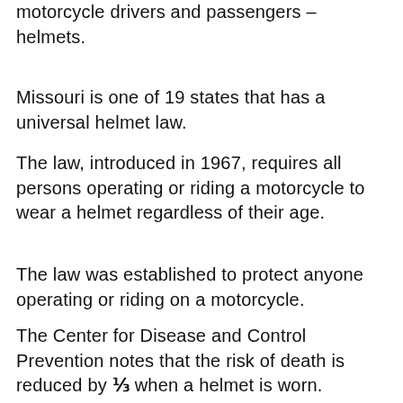motorcycle drivers and passengers – helmets.
Missouri is one of 19 states that has a universal helmet law.
The law, introduced in 1967, requires all persons operating or riding a motorcycle to wear a helmet regardless of their age.
The law was established to protect anyone operating or riding on a motorcycle.
The Center for Disease and Control Prevention notes that the risk of death is reduced by ⅓ when a helmet is worn.